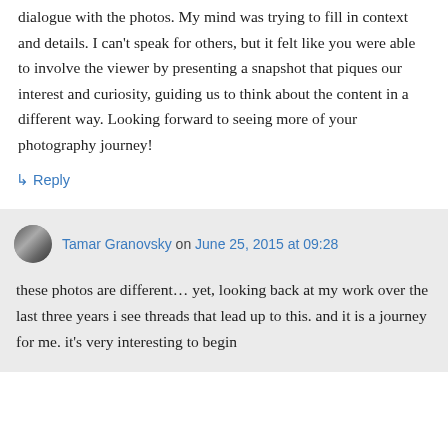dialogue with the photos. My mind was trying to fill in context and details. I can't speak for others, but it felt like you were able to involve the viewer by presenting a snapshot that piques our interest and curiosity, guiding us to think about the content in a different way. Looking forward to seeing more of your photography journey!
↳ Reply
Tamar Granovsky on June 25, 2015 at 09:28
these photos are different… yet, looking back at my work over the last three years i see threads that lead up to this. and it is a journey for me. it's very interesting to begin